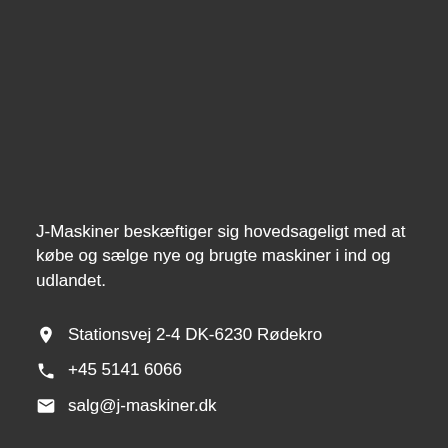J-Maskiner beskæftiger sig hovedsageligt med at købe og sælge nye og brugte maskiner i ind og udlandet.
Stationsvej 2-4 DK-6230 Rødekro
+45 5141 6066
salg@j-maskiner.dk